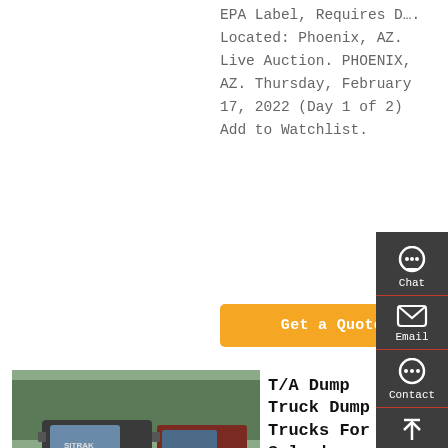EPA Label, Requires D….
Located: Phoenix, AZ.
Live Auction. PHOENIX, AZ. Thursday, February 17, 2022 (Day 1 of 2)
Add to Watchlist.
Get a Quote
[Figure (photo): Dump trucks parked in a row, multiple large trucks visible from front/side angle, trees in background.]
T/A Dump Truck Dump Trucks For Sale | TruckPlanet
Kefid · Buy used Dump Trucks from Mack,